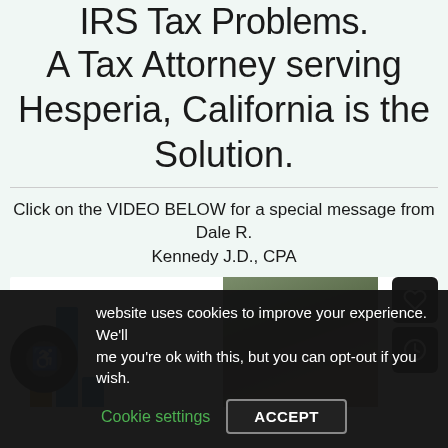IRS Tax Problems. A Tax Attorney serving Hesperia, California is the Solution.
Click on the VIDEO BELOW for a special message from Dale R. Kennedy J.D., CPA
[Figure (screenshot): Video thumbnail area showing a bar chart stub on the left and a photo of Dale R. Kennedy on the right, with two icon buttons (heart and clock) on the far right.]
website uses cookies to improve your experience. We'll me you're ok with this, but you can opt-out if you wish.
Cookie settings    ACCEPT